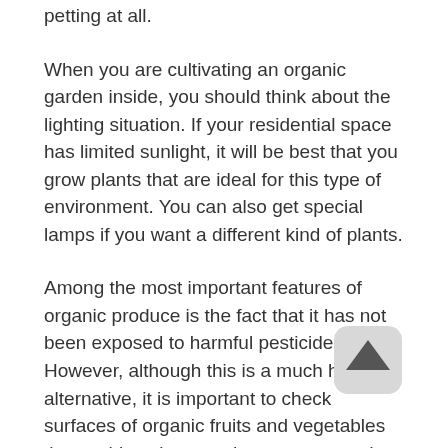petting at all.
When you are cultivating an organic garden inside, you should think about the lighting situation. If your residential space has limited sunlight, it will be best that you grow plants that are ideal for this type of environment. You can also get special lamps if you want a different kind of plants.
Among the most important features of organic produce is the fact that it has not been exposed to harmful pesticides. However, although this is a much healthier alternative, it is important to check surfaces of organic fruits and vegetables thoroughly to be sure that no unwanted pests are living in or on them.
Botanical Insecticides